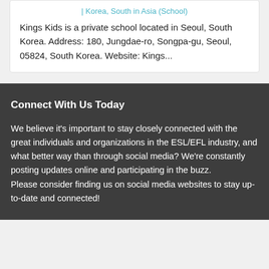| Korea, South in Asia (School)
Kings Kids is a private school located in Seoul, South Korea. Address: 180, Jungdae-ro, Songpa-gu, Seoul, 05824, South Korea. Website: Kings...
Connect With Us Today
We believe it's important to stay closely connected with the great individuals and organizations in the ESL/EFL industry, and what better way than through social media? We're constantly posting updates online and participating in the buzz. Please consider finding us on social media websites to stay up-to-date and connected!